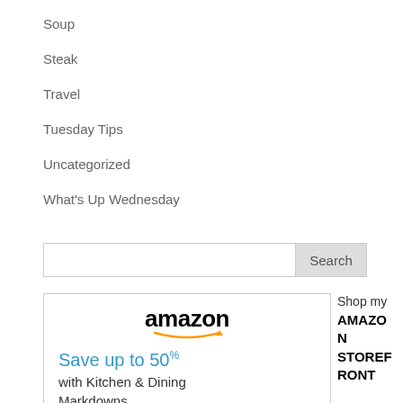Soup
Steak
Travel
Tuesday Tips
Uncategorized
What's Up Wednesday
[Figure (other): Search bar with text input field and Search button]
[Figure (other): Amazon advertisement widget showing logo, 'Save up to 50% with Kitchen & Dining Markdowns' with a 'Shop my AMAZON STOREFRONT' label to the right]